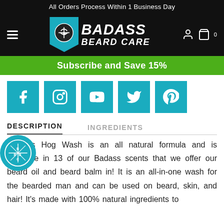All Orders Process Within 1 Business Day
[Figure (logo): Badass Beard Care logo with teal pennant badge and white italic text]
Subscribe and Save 15%
[Figure (infographic): Row of five teal social media icons: Facebook, Instagram, YouTube, Twitter, Pinterest]
DESCRIPTION
INGREDIENTS
Chuck's Hog Wash is an all natural formula and is available in 13 of our Badass scents that we offer our beard oil and beard balm in! It is an all-in-one wash for the bearded man and can be used on beard, skin, and hair! It's made with 100% natural ingredients to